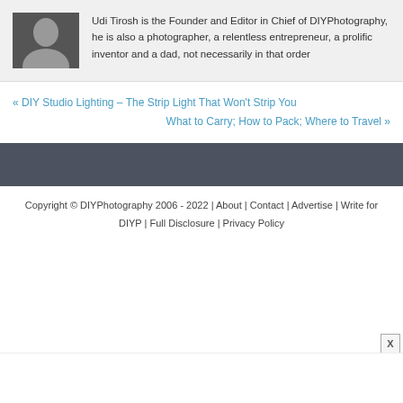[Figure (photo): Headshot of Udi Tirosh, a man in a dark shirt against a dark background]
Udi Tirosh is the Founder and Editor in Chief of DIYPhotography, he is also a photographer, a relentless entrepreneur, a prolific inventor and a dad, not necessarily in that order
« DIY Studio Lighting – The Strip Light That Won't Strip You
What to Carry; How to Pack; Where to Travel »
Copyright © DIYPhotography 2006 - 2022 | About | Contact | Advertise | Write for DIYP | Full Disclosure | Privacy Policy